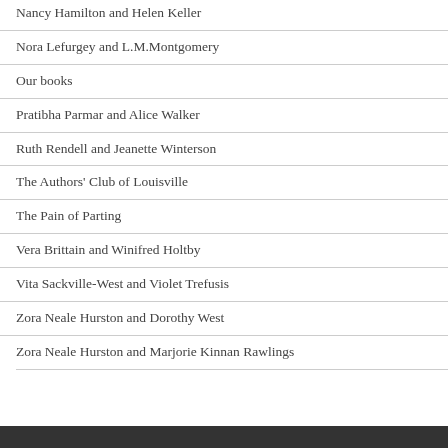Nancy Hamilton and Helen Keller
Nora Lefurgey and L.M.Montgomery
Our books
Pratibha Parmar and Alice Walker
Ruth Rendell and Jeanette Winterson
The Authors' Club of Louisville
The Pain of Parting
Vera Brittain and Winifred Holtby
Vita Sackville-West and Violet Trefusis
Zora Neale Hurston and Dorothy West
Zora Neale Hurston and Marjorie Kinnan Rawlings